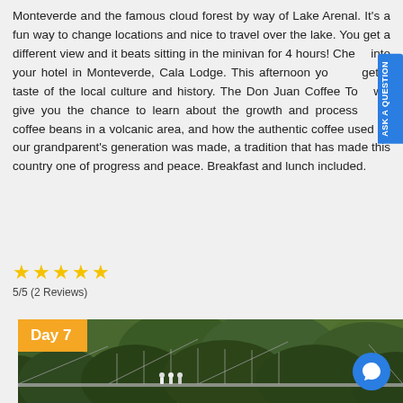Monteverde and the famous cloud forest by way of Lake Arenal. It's a fun way to change locations and nice to travel over the lake. You get a different view and it beats sitting in the minivan for 4 hours! Check into your hotel in Monteverde, Cala Lodge. This afternoon you will get a taste of the local culture and history. The Don Juan Coffee Tour will give you the chance to learn about the growth and processing of coffee beans in a volcanic area, and how the authentic coffee used by our grandparent's generation was made, a tradition that has made this country one of progress and peace. Breakfast and lunch included.
5/5 (2 Reviews)
[Figure (photo): Day 7 label badge over a rainforest photo showing a suspension bridge with people walking across it, dense green tropical forest hillside in background.]